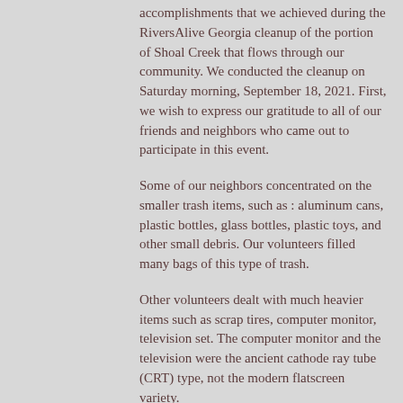accomplishments that we achieved during the RiversAlive Georgia cleanup of the portion of Shoal Creek that flows through our community. We conducted the cleanup on Saturday morning, September 18, 2021. First, we wish to express our gratitude to all of our friends and neighbors who came out to participate in this event.
Some of our neighbors concentrated on the smaller trash items, such as : aluminum cans, plastic bottles, glass bottles, plastic toys, and other small debris. Our volunteers filled many bags of this type of trash.
Other volunteers dealt with much heavier items such as scrap tires, computer monitor, television set. The computer monitor and the television were the ancient cathode ray tube (CRT) type, not the modern flatscreen variety.
Another group of volunteers tackled the large, very heavy, waterlogged items. Some of those included a rusted shopping